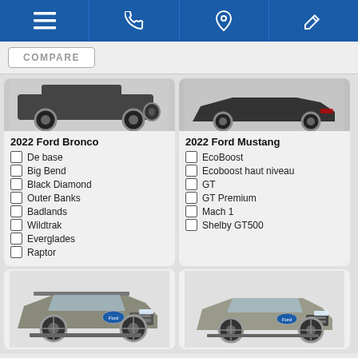Navigation bar with menu, phone, location, and tools icons
COMPARE
[Figure (photo): Partial rear view of 2022 Ford Bronco]
2022 Ford Bronco
De base
Big Bend
Black Diamond
Outer Banks
Badlands
Wildtrak
Everglades
Raptor
[Figure (photo): Partial rear view of 2022 Ford Mustang]
2022 Ford Mustang
EcoBoost
Ecoboost haut niveau
GT
GT Premium
Mach 1
Shelby GT500
[Figure (photo): Front 3/4 view of a large gray Ford SUV (Expedition)]
[Figure (photo): Front 3/4 view of a gray Ford Edge SUV]